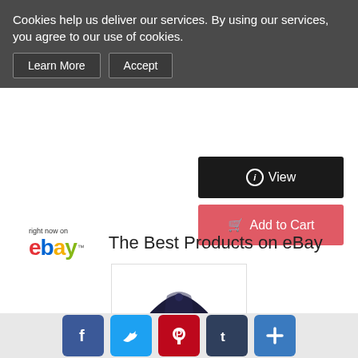Cookies help us deliver our services. By using our services, you agree to our use of cookies.
Learn More | Accept
[Figure (screenshot): View button (dark) and Add to Cart button (red/pink) on a shopping page]
[Figure (logo): right now on eBay logo with colored letters e(red) b(blue) a(yellow) y(green)]
The Best Products on eBay
[Figure (photo): New York Yankees navy baseball cap with NY logo on a white background]
NEW YORK YANKEES HAT MLB BASEBALL NA...
$19.99
[Figure (infographic): Social sharing buttons: Facebook, Twitter, Pinterest, Tumblr, and a plus button]